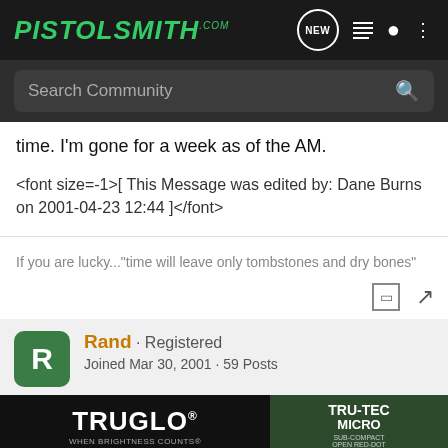PISTOLSMITH.com - NEW, list, user, more
Search Community
time. I'm gone for a week as of the AM.
<font size=-1>[ This Message was edited by: Dane Burns on 2001-04-23 12:44 ]</font>
If you are lucky..."time will leave only tombstones and dry bones"
Rand · Registered
Joined Mar 30, 2001 · 59 Posts
[Figure (screenshot): TRUGLO TRU-TEC MICRO advertisement banner]
#8 · Apr